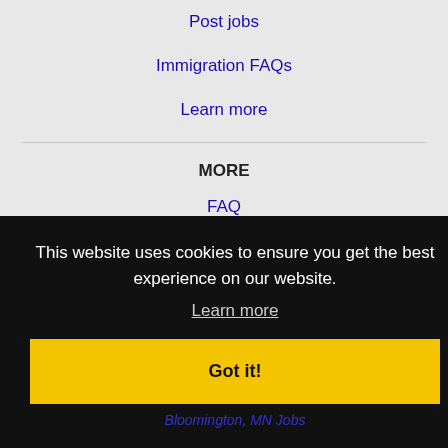Post jobs
Immigration FAQs
Learn more
MORE
FAQ
Contact us
Sitemap
This website uses cookies to ensure you get the best experience on our website.
Learn more
Got it!
Bloomington, MN Jobs